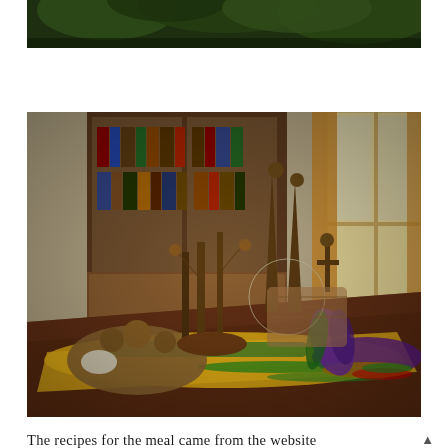[Figure (photo): Top portion of a photo showing dark green foliage against a dark background, partially visible at the top of the page]
[Figure (photo): A Mardi Gras themed table scene with decorative crowns, jester hat, green and gold beads, purple feathered decorations, gold and purple fabric draped on a dark wood table, with a wooden bookcase full of books in the background and a window with golden curtains]
The recipes for the meal came from the website All Recipes.com.